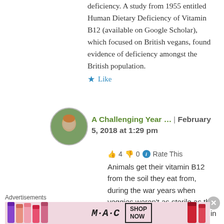deficiency. A study from 1955 entitled Human Dietary Deficiency of Vitamin B12 (available on Google Scholar), which focused on British vegans, found evidence of deficiency amongst the British population.
★ Like
[Figure (photo): Circular avatar photo of a person partially obscured by green foliage]
A Challenging Year … | February 5, 2018 at 1:29 pm
👍 4 👎 0 ℹ Rate This
Animals get their vitamin B12 from the soil they eat from, during the war years when veggies weren't as sterile as they are today getting enough vitamin B12 for a vegan wo…
Advertisements
[Figure (photo): M·A·C cosmetics advertisement banner showing colorful lipsticks on left and right with M·A·C logo and SHOP NOW button in center]